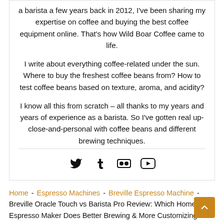a barista a few years back in 2012, I've been sharing my expertise on coffee and buying the best coffee equipment online. That's how Wild Boar Coffee came to life.

I write about everything coffee-related under the sun. Where to buy the freshest coffee beans from? How to test coffee beans based on texture, aroma, and acidity?

I know all this from scratch – all thanks to my years and years of experience as a barista. So I've gotten real up-close-and-personal with coffee beans and different brewing techniques.
[Figure (other): Social media icons: Twitter, Tumblr, Flickr, YouTube]
Home - Espresso Machines - Breville Espresso Machine - Breville Oracle Touch vs Barista Pro Review: Which Home Espresso Maker Does Better Brewing & More Customizing?